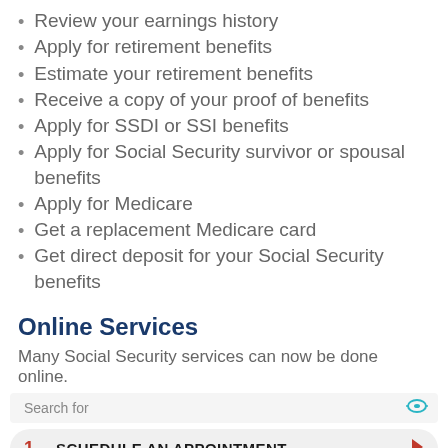Review your earnings history
Apply for retirement benefits
Estimate your retirement benefits
Receive a copy of your proof of benefits
Apply for SSDI or SSI benefits
Apply for Social Security survivor or spousal benefits
Apply for Medicare
Get a replacement Medicare card
Get direct deposit for your Social Security benefits
Online Services
Many Social Security services can now be done online.
[Figure (screenshot): Search interface with two results: 1. SCHEDULE AN APPOINTMENT, 2. MAKE AN APPOINTMENT, with a teal eye icon and arrow buttons]